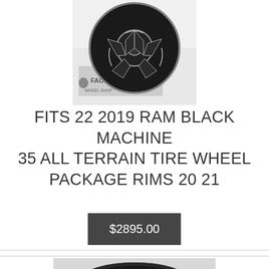[Figure (photo): Black machined wheel rim displayed in front of a Factory Wheels branded box]
FITS 22 2019 RAM BLACK MACHINE 35 ALL TERRAIN TIRE WHEEL PACKAGE RIMS 20 21
$2895.00
[Figure (photo): Black tire and wheel mounted, shown from the side on grass]